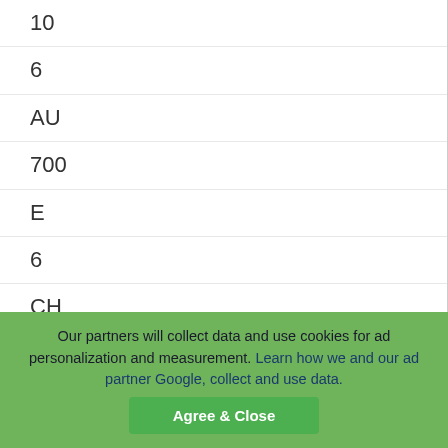| 10 |
| 6 |
| AU |
| 700 |
| E |
| 6 |
| CH |
| 900 |
| 6 |
| HIGHGAT |
Our partners will collect data and use cookies for ad personalization and measurement. Learn how we and our ad partner Google, collect and use data.
Agree & Close